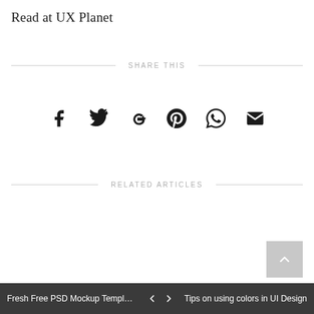Read at UX Planet
SHARE THIS
[Figure (other): Social share icons: Facebook, Twitter, Google+, Pinterest, WhatsApp, Email]
RELATED ARTICLES
Fresh Free PSD Mockup Template...   <   >   Tips on using colors in UI Design